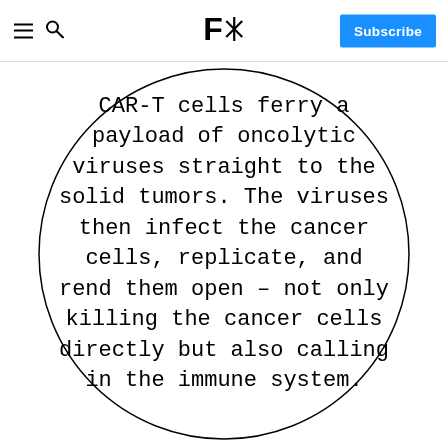F* | Subscribe
CAR-T cells ferry a payload of oncolytic viruses straight to the solid tumors. The viruses then infect the cancer cells, replicate, and rend them open – not only killing the cancer cells directly but also calling in the immune system.